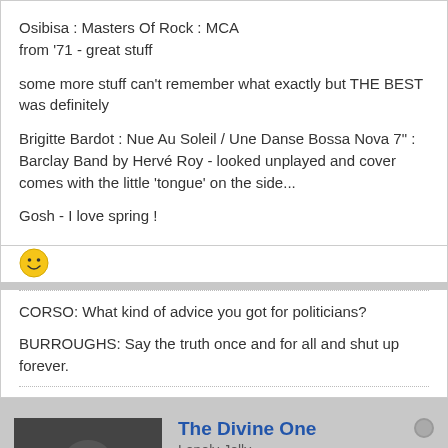Osibisa : Masters Of Rock : MCA
from '71 - great stuff
some more stuff can't remember what exactly but THE BEST was definitely
Brigitte Bardot : Nue Au Soleil / Une Danse Bossa Nova 7" : Barclay Band by Hervé Roy - looked unplayed and cover comes with the little 'tongue' on the side...
Gosh - I love spring !
[Figure (illustration): Yellow smiley face emoji]
CORSO: What kind of advice you got for politicians?
BURROUGHS: Say the truth once and for all and shut up forever.
The Divine One
Lonely Jelly
Join Date: Jul 2004    Posts: 3174
[Figure (photo): Avatar photo of The Divine One user - black and white portrait]